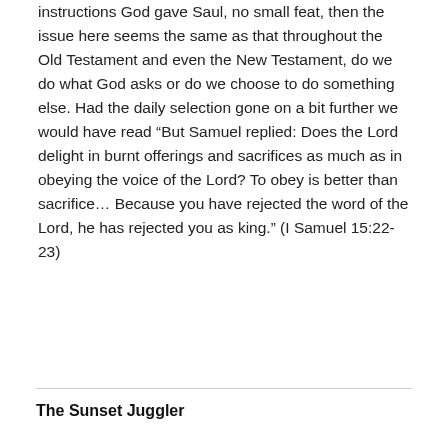instructions God gave Saul, no small feat, then the issue here seems the same as that throughout the Old Testament and even the New Testament, do we do what God asks or do we choose to do something else. Had the daily selection gone on a bit further we would have read “But Samuel replied: Does the Lord delight in burnt offerings and sacrifices as much as in obeying the voice of the Lord? To obey is better than sacrifice… Because you have rejected the word of the Lord, he has rejected you as king.” (I Samuel 15:22-23)
The Sunset Juggler